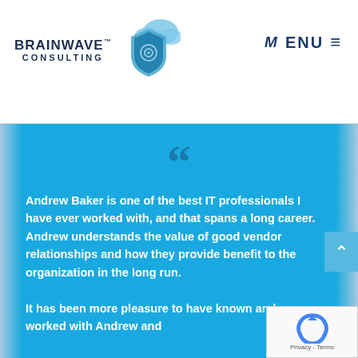[Figure (logo): BrainWave Consulting logo with shield and cloud icon]
MENU ≡
Andrew Baker is one of the best IT professionals I have ever worked with, and that spans a long career. Andrew understands the value of good vendor relationships and how they provide benefit to the organization in the long run.

It has been more pleasure to have known and worked with Andrew and